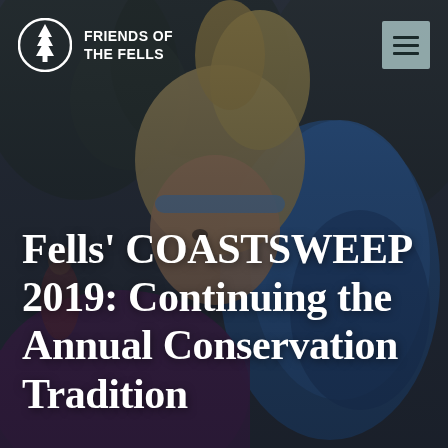[Figure (photo): A child with blonde hair wearing a blue backpack, leaning forward. The background shows a forested trail scene. The image has a dark overlay. The overall tone is dark blue-grey.]
FRIENDS OF THE FELLS
Fells' COASTSWEEP 2019: Continuing the Annual Conservation Tradition